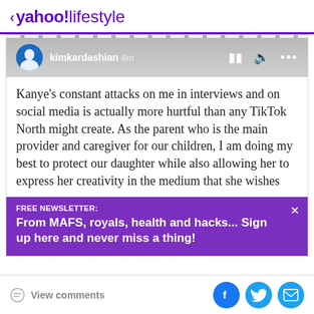< yahoo!lifestyle
[Figure (screenshot): Instagram-style video story screenshot showing kimkardashian username with 8m timestamp, pause and mute icons, and a text post reading: Kanye's constant attacks on me in interviews and on social media is actually more hurtful than any TikTok North might create. As the parent who is the main provider and caregiver for our children, I am doing my best to protect our daughter while also allowing her to express her creativity in the medium that she wishes]
FREE NEWSLETTER:
From MAFS, royals, health and hacks... Sign up here and never miss a thing!
View comments